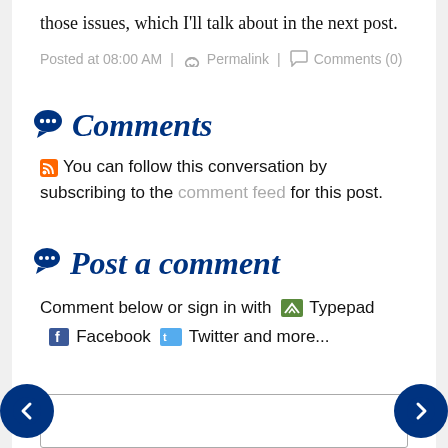those issues, which I'll talk about in the next post.
Posted at 08:00 AM | ⌖ Permalink | ○ Comments (0)
Comments
You can follow this conversation by subscribing to the comment feed for this post.
Post a comment
Comment below or sign in with Typepad Facebook Twitter and more...